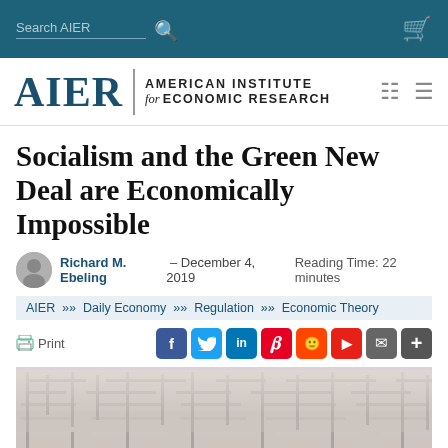Search AIER [navigation bar with cart]
[Figure (logo): AIER | AMERICAN INSTITUTE for ECONOMIC RESEARCH logo with calculator and menu icons]
Socialism and the Green New Deal are Economically Impossible
Richard M. Ebeling – December 4, 2019   Reading Time: 22 minutes
AIER >> Daily Economy >> Regulation >> Economic Theory
Print [social share icons: Facebook, Twitter, LinkedIn, Pinterest, Reddit, Flipboard, Mail, Plus]
[Figure (photo): Aerial view of a complex white maze/labyrinth]